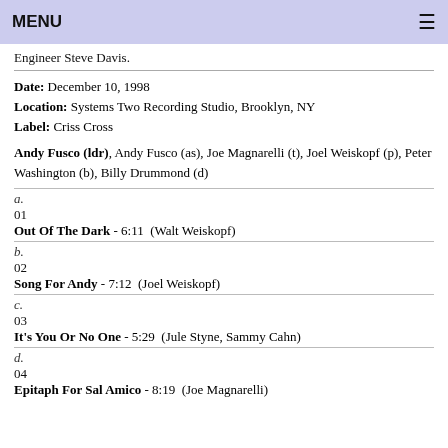MENU
Engineer Steve Davis.
Date: December 10, 1998
Location: Systems Two Recording Studio, Brooklyn, NY
Label: Criss Cross
Andy Fusco (ldr), Andy Fusco (as), Joe Magnarelli (t), Joel Weiskopf (p), Peter Washington (b), Billy Drummond (d)
a.
01
Out Of The Dark - 6:11  (Walt Weiskopf)
b.
02
Song For Andy - 7:12  (Joel Weiskopf)
c.
03
It's You Or No One - 5:29  (Jule Styne, Sammy Cahn)
d.
04
Epitaph For Sal Amico - 8:19  (Joe Magnarelli)